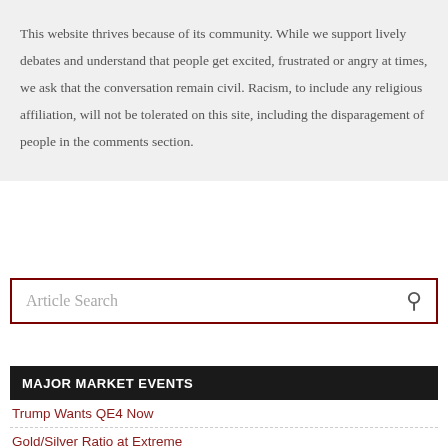This website thrives because of its community. While we support lively debates and understand that people get excited, frustrated or angry at times, we ask that the conversation remain civil. Racism, to include any religious affiliation, will not be tolerated on this site, including the disparagement of people in the comments section.
Article Search
MAJOR MARKET EVENTS
Trump Wants QE4 Now
Gold/Silver Ratio at Extreme